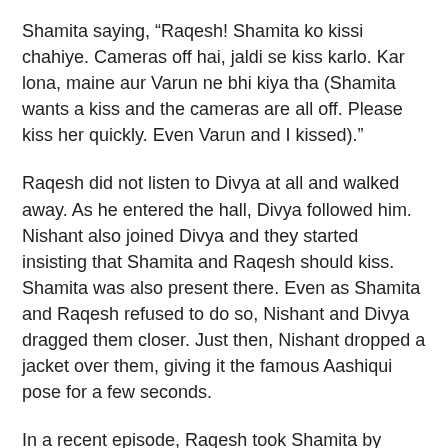Shamita saying, “Raqesh! Shamita ko kissi chahiye. Cameras off hai, jaldi se kiss karlo. Kar lona, maine aur Varun ne bhi kiya tha (Shamita wants a kiss and the cameras are all off. Please kiss her quickly. Even Varun and I kissed).”
Raqesh did not listen to Divya at all and walked away. As he entered the hall, Divya followed him. Nishant also joined Divya and they started insisting that Shamita and Raqesh should kiss. Shamita was also present there. Even as Shamita and Raqesh refused to do so, Nishant and Divya dragged them closer. Just then, Nishant dropped a jacket over them, giving it the famous Aashiqui pose for a few seconds.
In a recent episode, Raqesh took Shamita by surprise when he told her that he loves her. She said, “You don’t say nice things about me very often,” and Raqesh replied, “I should be able to see nice behaviour first.”